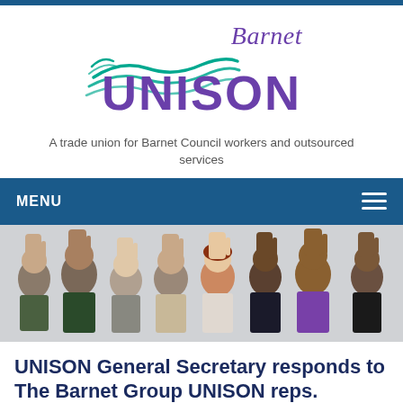[Figure (logo): Barnet UNISON logo with green wave motif, 'Barnet' in italic purple serif font and 'UNISON' in large bold purple sans-serif font]
A trade union for Barnet Council workers and outsourced services
MENU
[Figure (photo): Group photo of approximately eight women standing in a row, each holding up both hands with palms facing the camera, in an indoor setting]
UNISON General Secretary responds to The Barnet Group UNISON reps.